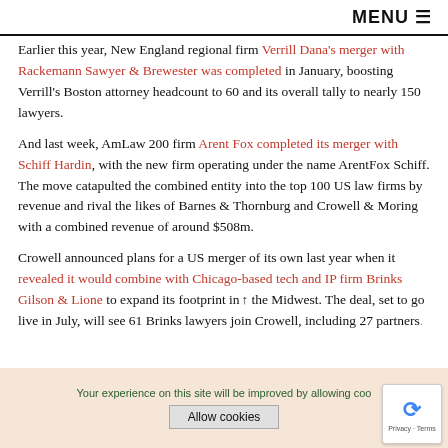MENU
Earlier this year, New England regional firm Verrill Dana's merger with Rackemann Sawyer & Brewester was completed in January, boosting Verrill's Boston attorney headcount to 60 and its overall tally to nearly 150 lawyers.
And last week, AmLaw 200 firm Arent Fox completed its merger with Schiff Hardin, with the new firm operating under the name ArentFox Schiff. The move catapulted the combined entity into the top 100 US law firms by revenue and rival the likes of Barnes & Thornburg and Crowell & Moring with a combined revenue of around $508m.
Crowell announced plans for a US merger of its own last year when it revealed it would combine with Chicago-based tech and IP firm Brinks Gilson & Lione to expand its footprint in the Midwest. The deal, set to go live in July, will see 61 Brinks lawyers join Crowell, including 27 partners.
Your experience on this site will be improved by allowing coo
Allow cookies